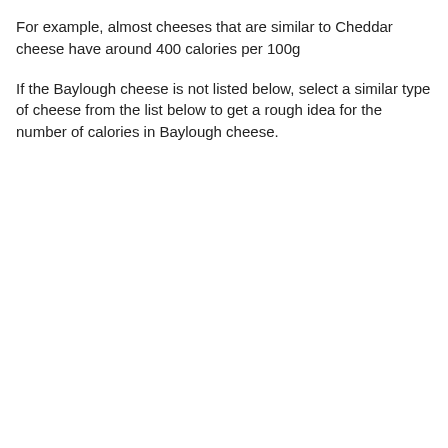For example, almost cheeses that are similar to Cheddar cheese have around 400 calories per 100g
If the Baylough cheese is not listed below, select a similar type of cheese from the list below to get a rough idea for the number of calories in Baylough cheese.